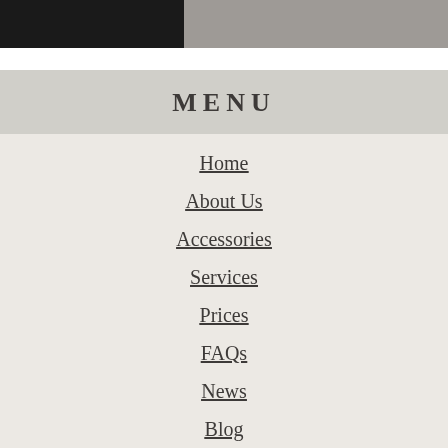MENU
Home
About Us
Accessories
Services
Prices
FAQs
News
Blog
Contact
Commercial